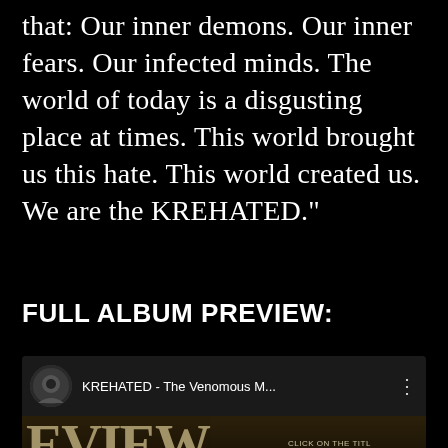that: Our inner demons. Our inner fears. Our infected minds. The world of today is a disgusting place at times. This world brought us this hate. This world created us. We are the KREHATED."
FULL ALBUM PREVIEW:
[Figure (screenshot): YouTube video thumbnail embed showing KREHATED - The Venomous M... with album track listing preview including INTRORSUM, OUR FALLEN IDEALS, AWAKEN, INSIDE, THE PARASITE, SCUM, STAY AWA[Y], GODS, FIND[AREWELL], TRIUMPH[H] buttons over a dark textured background]